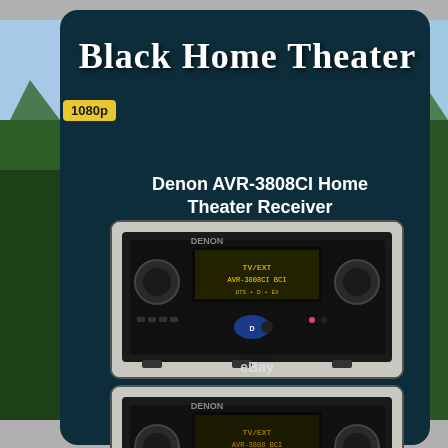Black Home Theater
1080p
Denon AVR-3808CI Home Theater Receiver
[Figure (photo): Front face of Denon AVR-3808CI home theater receiver, black unit with two large knobs, digital display showing TV/EXT and model info, with eBay watermark]
[Figure (photo): Second view of Denon AVR-3808CI home theater receiver front panel, black unit with knobs and display, with eBay watermark]